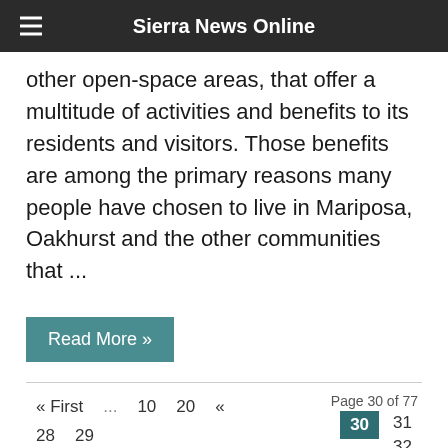Sierra News Online
other open-space areas, that offer a multitude of activities and benefits to its residents and visitors. Those benefits are among the primary reasons many people have chosen to live in Mariposa, Oakhurst and the other communities that ...
Read More »
« First   ...   10   20   «   28   29   Page 30 of 77   30   31   32   »   40   50   60   ...   Last »
Username